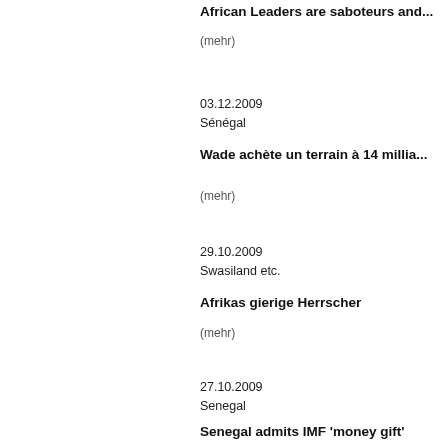African Leaders are saboteurs and...
(mehr)
03.12.2009
Sénégal
Wade achète un terrain à 14 millia...
(mehr)
29.10.2009
Swasiland etc.
Afrikas gierige Herrscher
(mehr)
27.10.2009
Senegal
Senegal admits IMF 'money gift'
(mehr)